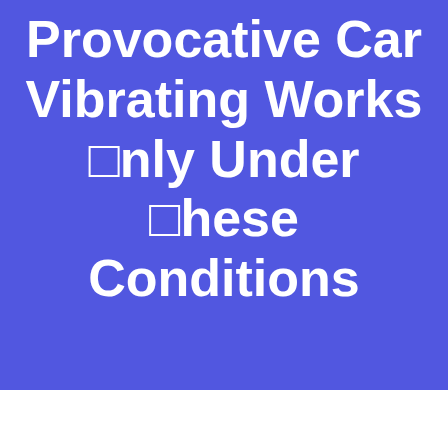Provocative Car Vibrating Works □nly Under □hese Conditions